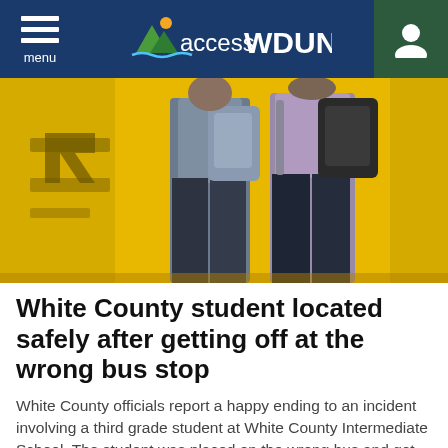menu | accessWDUN
[Figure (photo): Two students with backpacks walking in front of a yellow school bus]
White County student located safely after getting off at the wrong bus stop
White County officials report a happy ending to an incident involving a third grade student at White County Intermediate School. The student was placed on the wrong bus and got off at the wrong location late Tuesday and was the object of a small search.
4:44PM ( 5 years ago )